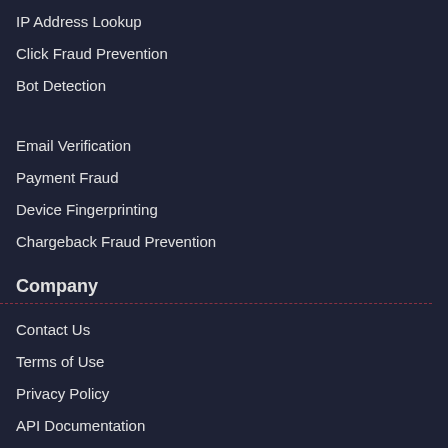IP Address Lookup
Click Fraud Prevention
Bot Detection
Email Verification
Payment Fraud
Device Fingerprinting
Chargeback Fraud Prevention
Company
Contact Us
Terms of Use
Privacy Policy
API Documentation